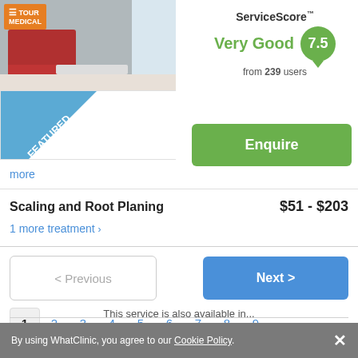[Figure (photo): Clinic interior photo with red sofa and white reception area, Tour Medical orange badge in top-left corner, and Featured diagonal ribbon banner]
ServiceScore™
Very Good
from 239 users
7.5
Enquire
more
Scaling and Root Planing
$51 - $203
1 more treatment >
< Previous
Next >
1  2  3  4  5  6  7  8  9
By using WhatClinic, you agree to our Cookie Policy.